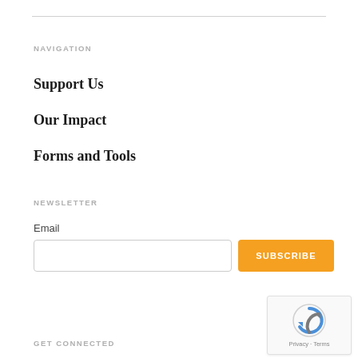NAVIGATION
Support Us
Our Impact
Forms and Tools
NEWSLETTER
Email
[Figure (screenshot): Email input field and orange SUBSCRIBE button]
[Figure (other): reCAPTCHA widget showing Privacy - Terms]
GET CONNECTED